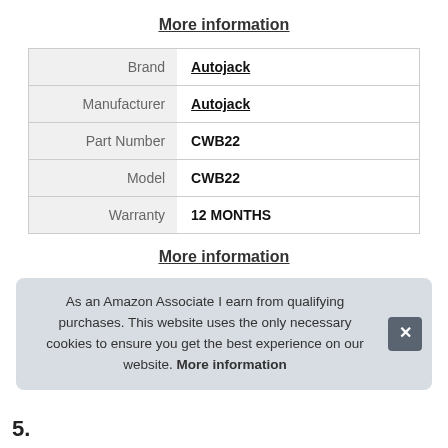More information
| Label | Value |
| --- | --- |
| Brand | Autojack |
| Manufacturer | Autojack |
| Part Number | CWB22 |
| Model | CWB22 |
| Warranty | 12 MONTHS |
More information
As an Amazon Associate I earn from qualifying purchases. This website uses the only necessary cookies to ensure you get the best experience on our website. More information
5.